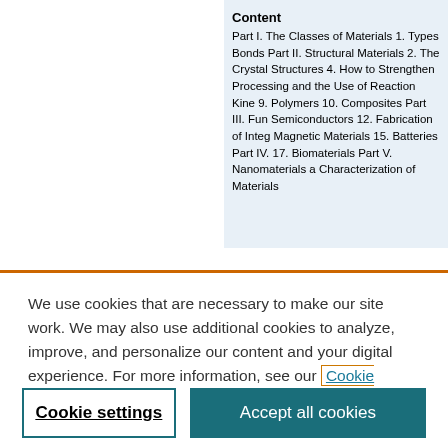Content
Part I. The Classes of Materials 1. Types Bonds Part II. Structural Materials 2. The Crystal Structures 4. How to Strengthen Processing and the Use of Reaction Kine 9. Polymers 10. Composites Part III. Fun Semiconductors 12. Fabrication of Integ Magnetic Materials 15. Batteries Part IV. 17. Biomaterials Part V. Nanomaterials a Characterization of Materials
We use cookies that are necessary to make our site work. We may also use additional cookies to analyze, improve, and personalize our content and your digital experience. For more information, see our Cookie Policy
Cookie settings
Accept all cookies